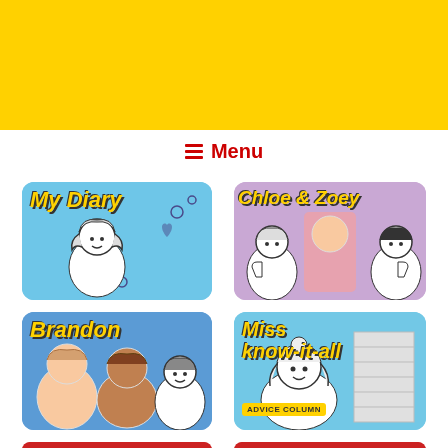[Figure (illustration): Yellow banner header area of a children's website]
☰ Menu
[Figure (illustration): My Diary section card with anime-style girl illustration on blue background]
[Figure (illustration): Chloe & Zoey section card with real girl photo and cartoon characters on purple background]
[Figure (illustration): Brandon section card with photo of two boys and cartoon boy on blue background]
[Figure (illustration): Miss Know-it-all Advice Column card with cartoon girl on light blue background]
[Figure (illustration): Partial red card bottom left - partially visible]
[Figure (illustration): Partial red card bottom right - partially visible]